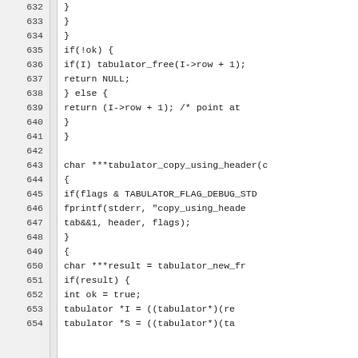[Figure (screenshot): Source code listing showing C code lines 632-654, including closing braces, if(!ok) block with tabulator_free and return NULL, else block returning I->row+1, function char ***tabulator_copy_using_header declaration, and a block with flags check, fprintf call, and result/ok/tabulator variable declarations.]